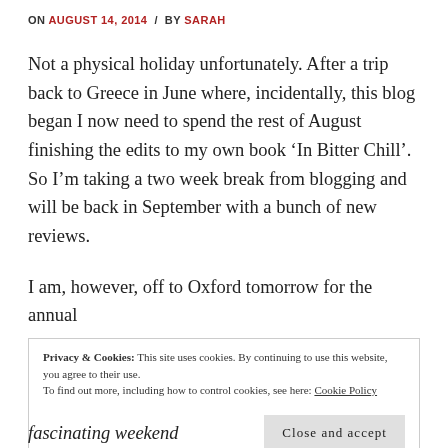ON AUGUST 14, 2014 / BY SARAH
Not a physical holiday unfortunately. After a trip back to Greece in June where, incidentally, this blog began I now need to spend the rest of August finishing the edits to my own book ‘In Bitter Chill’. So I’m taking a two week break from blogging and will be back in September with a bunch of new reviews.
I am, however, off to Oxford tomorrow for the annual
Privacy & Cookies: This site uses cookies. By continuing to use this website, you agree to their use.
To find out more, including how to control cookies, see here: Cookie Policy
Close and accept
fascinating weekend